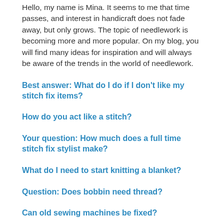Hello, my name is Mina. It seems to me that time passes, and interest in handicraft does not fade away, but only grows. The topic of needlework is becoming more and more popular. On my blog, you will find many ideas for inspiration and will always be aware of the trends in the world of needlework.
Best answer: What do I do if I don't like my stitch fix items?
How do you act like a stitch?
Your question: How much does a full time stitch fix stylist make?
What do I need to start knitting a blanket?
Question: Does bobbin need thread?
Can old sewing machines be fixed?
What is mohair yarn good for?